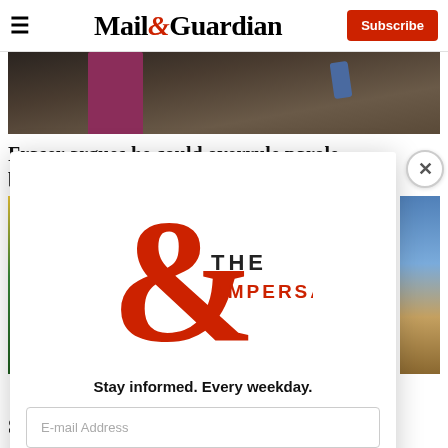Mail&Guardian  Subscribe
[Figure (photo): Partial photo of a person in a dark suit with a pink/magenta tie, cropped at top]
Fraser argues he could overrule parole board on 't
[Figure (illustration): The Ampersand newsletter modal popup with red ampersand logo, tagline 'Stay informed. Every weekday.', email input field, and Signup now button]
S